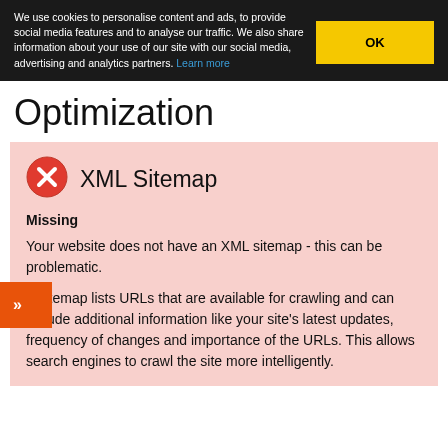We use cookies to personalise content and ads, to provide social media features and to analyse our traffic. We also share information about your use of our site with our social media, advertising and analytics partners. Learn more
Optimization
XML Sitemap
Missing
Your website does not have an XML sitemap - this can be problematic.
A sitemap lists URLs that are available for crawling and can include additional information like your site's latest updates, frequency of changes and importance of the URLs. This allows search engines to crawl the site more intelligently.